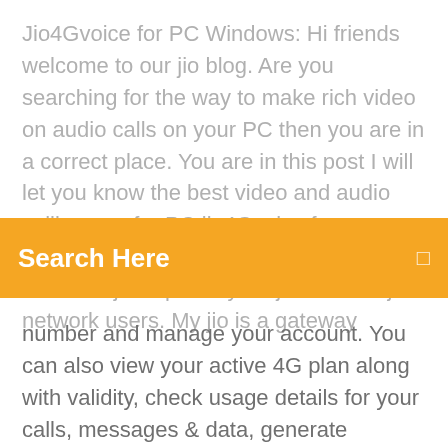Jio4Gvoice for PC Windows: Hi friends welcome to our jio blog. Are you searching for the way to make rich video on audio calls on your PC then you are in a correct place. You are in this post I will let you know the best video and audio calling app for PC jio4Gvoice for PC.Jio4Gvoice app is released by Reliance jio especially for jio sim and jio network users. My jio is a gateway
[Figure (screenshot): Orange search bar overlay with text 'Search Here' and a search icon on the right]
number and manage your account. You can also view your active 4G plan along with validity, check usage details for your calls, messages & data, generate detailed statements for up to 6 months, locate nearby stores or JioNet hotspots, update registered Jio Services are available on 4G enabled devices For details visit www.jio.com — Now manage your Jio accounts, services and much more with the new MyJio • Universal QR: i. Link accounts, save contacts and much more with the Smart QR scanner. • Search: i. Introducing single step Recharge! ii.